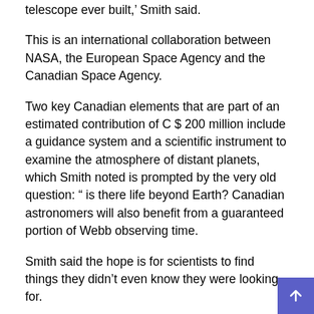telescope ever built,' Smith said.
This is an international collaboration between NASA, the European Space Agency and the Canadian Space Agency.
Two key Canadian elements that are part of an estimated contribution of C $ 200 million include a guidance system and a scientific instrument to examine the atmosphere of distant planets, which Smith noted is prompted by the very old question: " is there life beyond Earth? Canadian astronomers will also benefit from a guaranteed portion of Webb observing time.
Smith said the hope is for scientists to find things they didn't even know they were looking for.
“It’s a range of scientific possibilities, but usually with these kinds of big projects people sometimes refer to the conscious expectation of the unexpected,” Webb said, adding that projects like these are also extremely politically and technologically